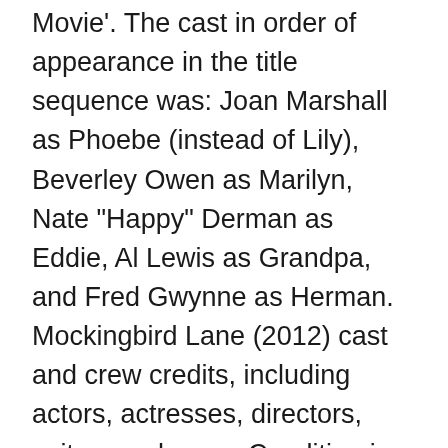Movie'. The cast in order of appearance in the title sequence was: Joan Marshall as Phoebe (instead of Lily), Beverley Owen as Marilyn, Nate "Happy" Derman as Eddie, Al Lewis as Grandpa, and Fred Gwynne as Herman. Mockingbird Lane (2012) cast and crew credits, including actors, actresses, directors, writers and more. Condition is new in box, sealed, with shelf wear on the packaging from storage as documented in the photos. DeCarlo's character was originally named Phoebe. Finally, a presentation was filmed by MCA Television